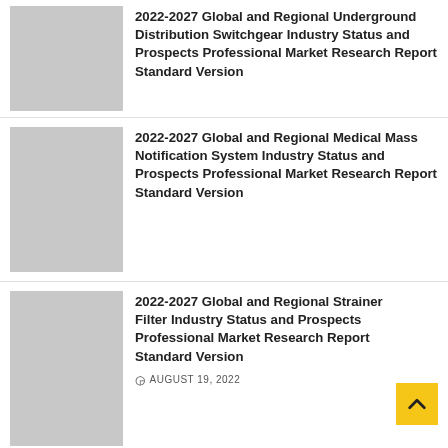[Figure (other): Gray placeholder thumbnail image]
2022-2027 Global and Regional Underground Distribution Switchgear Industry Status and Prospects Professional Market Research Report Standard Version
[Figure (other): Gray placeholder thumbnail image]
2022-2027 Global and Regional Medical Mass Notification System Industry Status and Prospects Professional Market Research Report Standard Version
[Figure (other): Gray placeholder thumbnail image]
2022-2027 Global and Regional Strainer Filter Industry Status and Prospects Professional Market Research Report Standard Version
AUGUST 19, 2022